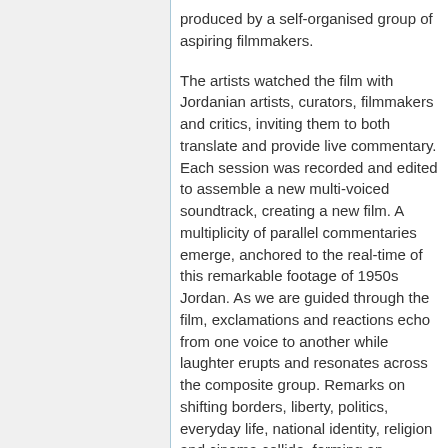produced by a self-organised group of aspiring filmmakers.
The artists watched the film with Jordanian artists, curators, filmmakers and critics, inviting them to both translate and provide live commentary. Each session was recorded and edited to assemble a new multi-voiced soundtrack, creating a new film. A multiplicity of parallel commentaries emerge, anchored to the real-time of this remarkable footage of 1950s Jordan. As we are guided through the film, exclamations and reactions echo from one voice to another while laughter erupts and resonates across the composite group. Remarks on shifting borders, liberty, politics, everyday life, national identity, religion and cinema collide, forming an intricate discussion